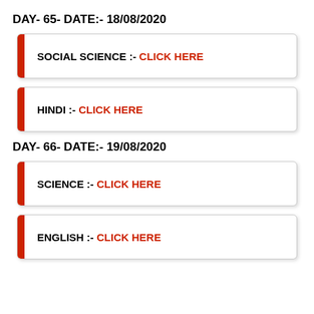DAY- 65- DATE:- 18/08/2020
SOCIAL SCIENCE :- CLICK HERE
HINDI :- CLICK HERE
DAY- 66- DATE:- 19/08/2020
SCIENCE :- CLICK HERE
ENGLISH :- CLICK HERE